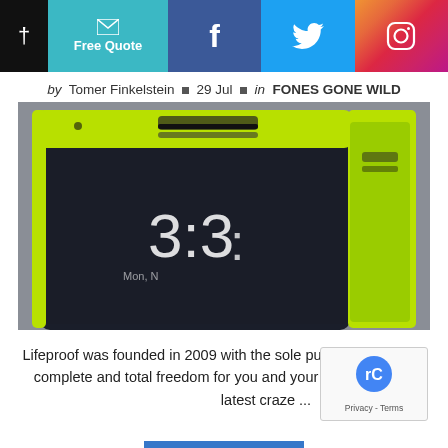Free Quote | Facebook | Twitter | Instagram
by Tomer Finkelstein · 29 Jul · in FONES GONE WILD
[Figure (photo): Close-up photo of a smartphone in a yellow-green protective case (Lifeproof), showing the top edge of the phone with the lock screen displaying time 3:33 on Monday. The case has yellow-green rubber trim against a grey fabric background.]
Lifeproof was founded in 2009 with the sole purpose to provide complete and total freedom for you and your phone. It beca latest craze ...